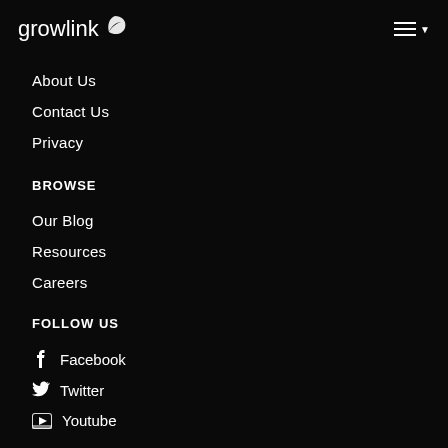growlink
About Us
Contact Us
Privacy
BROWSE
Our Blog
Resources
Careers
FOLLOW US
Facebook
Twitter
Youtube